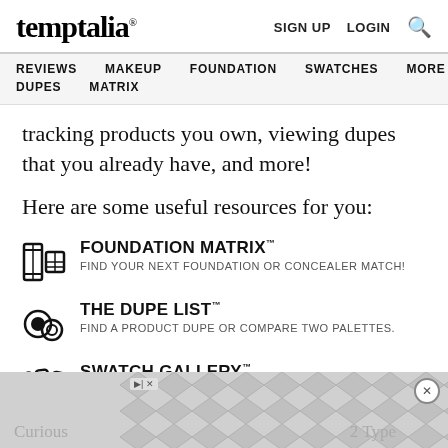temptalia® | SIGN UP  LOGIN  🔍
REVIEWS  MAKEUP  FOUNDATION  SWATCHES  MORE  DUPES  MATRIX
tracking products you own, viewing dupes that you already have, and more!
Here are some useful resources for you:
FOUNDATION MATRIX™ — FIND YOUR NEXT FOUNDATION OR CONCEALER MATCH!
THE DUPE LIST™ — FIND A PRODUCT DUPE OR COMPARE TWO PALETTES.
SWATCH GALLERY™ — FIND SWATCHES BY COLOR, PRODUCT, FORMULA, ETC..
COMPARE ANY TWO
Curious